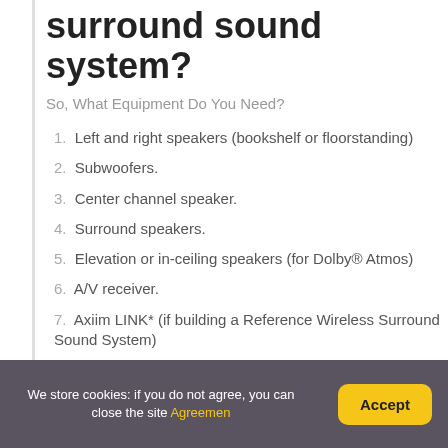surround sound system?
So, What Equipment Do You Need?
1. Left and right speakers (bookshelf or floorstanding)
2. Subwoofers.
3. Center channel speaker.
4. Surround speakers.
5. Elevation or in-ceiling speakers (for Dolby® Atmos)
6. A/V receiver.
7. Axiim LINK* (if building a Reference Wireless Surround Sound System)
We store cookies: if you do not agree, you can close the site Agreement